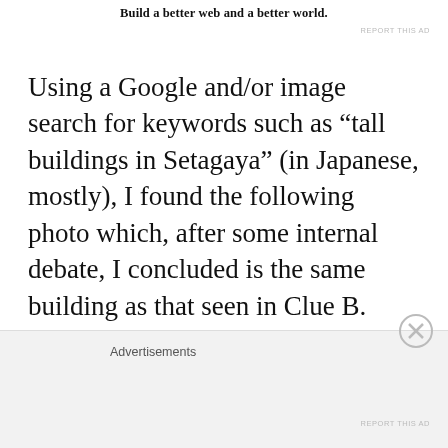Build a better web and a better world.
REPORT THIS AD
Using a Google and/or image search for keywords such as “tall buildings in Setagaya” (in Japanese, mostly), I found the following photo which, after some internal debate, I concluded is the same building as that seen in Clue B.
Clue C
Advertisements
REPORT THIS AD